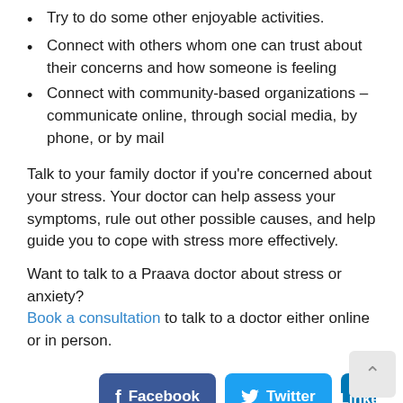Try to do some other enjoyable activities.
Connect with others whom one can trust about their concerns and how someone is feeling
Connect with community-based organizations – communicate online, through social media, by phone, or by mail
Talk to your family doctor if you're concerned about your stress. Your doctor can help assess your symptoms, rule out other possible causes, and help guide you to cope with stress more effectively.
Want to talk to a Praava doctor about stress or anxiety? Book a consultation to talk to a doctor either online or in person.
[Figure (other): Social sharing buttons for Facebook, Twitter, and LinkedIn, plus a scroll-to-top arrow button]